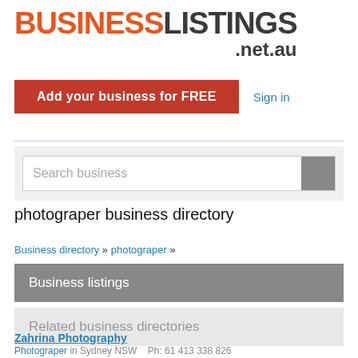BUSINESSLISTINGS .net.au
[Figure (other): Add your business for FREE button (red) and Sign in link]
[Figure (other): Search business input box with grey search button]
photograper business directory
Business directory » photograper »
Business listings
Related business directories
Zahrina Photography
Photograper in Sydney NSW   Ph: 61 413 338 826